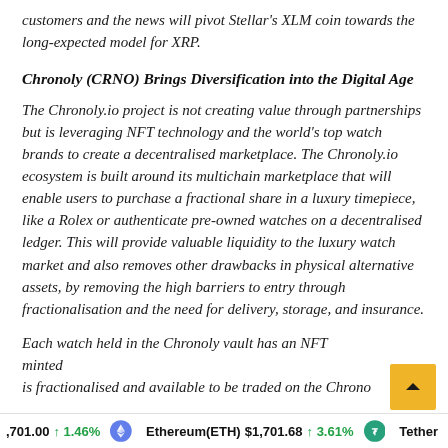customers and the news will pivot Stellar's XLM coin towards the long-expected model for XRP.
Chronoly (CRNO) Brings Diversification into the Digital Age
The Chronoly.io project is not creating value through partnerships but is leveraging NFT technology and the world's top watch brands to create a decentralised marketplace. The Chronoly.io ecosystem is built around its multichain marketplace that will enable users to purchase a fractional share in a luxury timepiece, like a Rolex or authenticate pre-owned watches on a decentralised ledger. This will provide valuable liquidity to the luxury watch market and also removes other drawbacks in physical alternative assets, by removing the high barriers to entry through fractionalisation and the need for delivery, storage, and insurance.
Each watch held in the Chronoly vault has an NFT minted that is fractionalised and available to be traded on the Chron...
1,701.00 ↑ 1.46% Ethereum(ETH) $1,701.68 ↑ 3.61% Tether